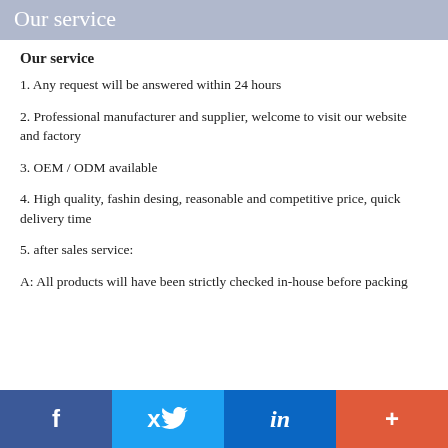Our service
Our service
1. Any request will be answered within 24 hours
2. Professional manufacturer and supplier, welcome to visit our website and factory
3. OEM / ODM available
4. High quality, fashin desing, reasonable and competitive price, quick delivery time
5. after sales service:
A: All products will have been strictly checked in-house before packing
f  (twitter bird)  in  +